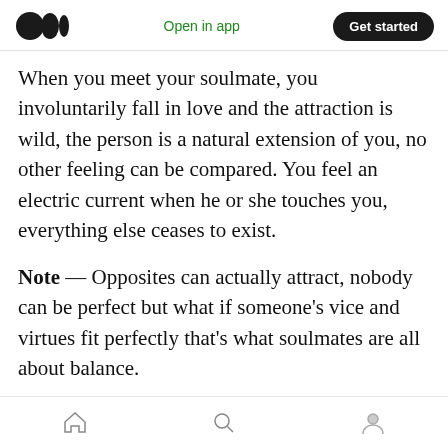Medium logo | Open in app | Get started
When you meet your soulmate, you involuntarily fall in love and the attraction is wild, the person is a natural extension of you, no other feeling can be compared. You feel an electric current when he or she touches you, everything else ceases to exist.
Note — Opposites can actually attract, nobody can be perfect but what if someone's vice and virtues fit perfectly that's what soulmates are all about balance.
7) Unspoken language,
Home | Search | Profile navigation icons